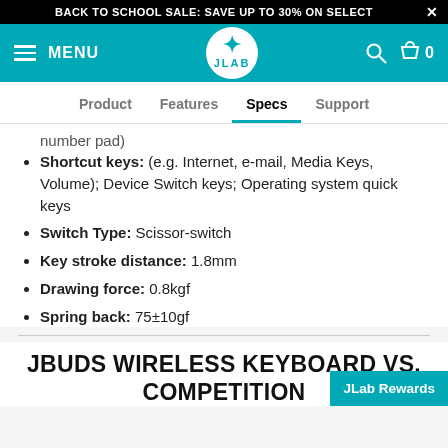BACK TO SCHOOL SALE: SAVE UP TO 30% ON SELECT
[Figure (logo): JLab navigation bar with hamburger menu, MENU text, JLab circular logo, search icon, and cart icon with 0 count]
Product   Features   Specs   Support
number pad)
Shortcut keys: (e.g. Internet, e-mail, Media Keys, Volume); Device Switch keys; Operating system quick keys
Switch Type: Scissor-switch
Key stroke distance: 1.8mm
Drawing force: 0.8kgf
Spring back: 75±10gf
JBUDS WIRELESS KEYBOARD VS. COMPETITION